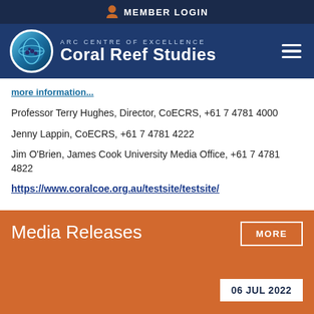MEMBER LOGIN
[Figure (logo): ARC Centre of Excellence Coral Reef Studies logo with circular globe icon and hamburger menu]
more information...
Professor Terry Hughes, Director, CoECRS, +61 7 4781 4000
Jenny Lappin, CoECRS, +61 7 4781 4222
Jim O'Brien, James Cook University Media Office, +61 7 4781 4822
https://www.coralcoe.org.au/testsite/testsite/
Media Releases
MORE
06 JUL 2022